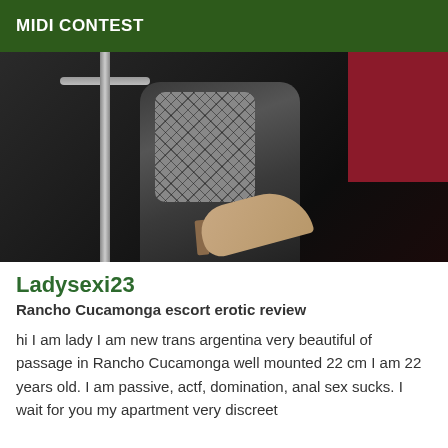MIDI CONTEST
[Figure (photo): Dark bar/lounge scene showing legs in fishnet stockings and a high heel shoe, dark atmospheric lighting with red background panel]
Ladysexi23
Rancho Cucamonga escort erotic review
hi I am lady I am new trans argentina very beautiful of passage in Rancho Cucamonga well mounted 22 cm I am 22 years old. I am passive, actf, domination, anal sex sucks. I wait for you my apartment very discreet